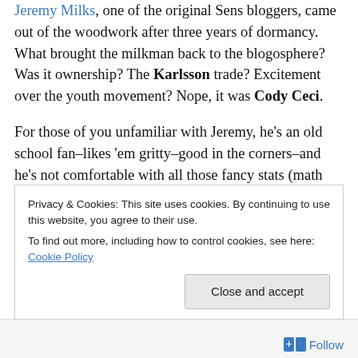Jeremy Milks, one of the original Sens bloggers, came out of the woodwork after three years of dormancy. What brought the milkman back to the blogosphere? Was it ownership? The Karlsson trade? Excitement over the youth movement? Nope, it was Cody Ceci.

For those of you unfamiliar with Jeremy, he's an old school fan–likes 'em gritty–good in the corners–and he's not comfortable with all those fancy stats (math and sports don't mix). I haven't blogged as far back as Jeremy has, but we were both blogging at the same time for years.

Despite that I rarely had reason to comment about him
Privacy & Cookies: This site uses cookies. By continuing to use this website, you agree to their use.
To find out more, including how to control cookies, see here: Cookie Policy
Close and accept